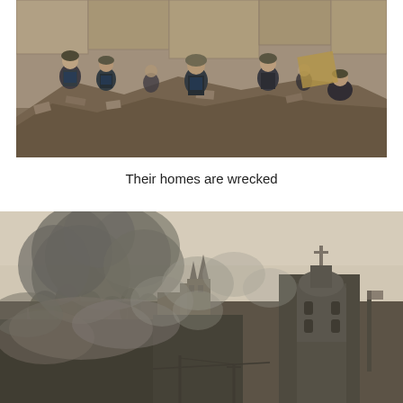[Figure (photo): People including soldiers or rescue workers among rubble and destroyed building debris. Several individuals wearing helmets and dark uniforms are visible amidst the destruction.]
Their homes are wrecked
[Figure (photo): Cityscape with dark smoke billowing across buildings and sky. A church tower with a cross is visible on the right side. The scene appears to depict urban destruction with heavy smoke obscuring much of the background.]